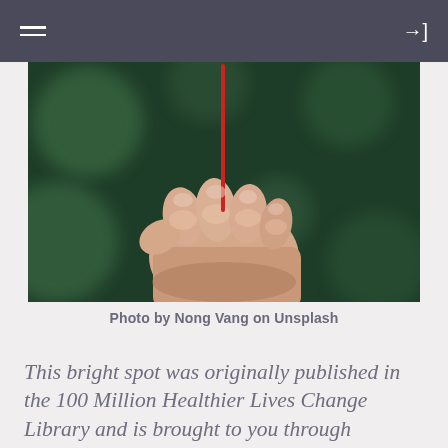Navigation bar with hamburger menu and login icon
[Figure (photo): A hand holding a thin red object (needle or stick) between fingers against a blurred dark green background. The hand is making a fist with the thumb and index finger pinching the red item upward.]
Photo by Nong Vang on Unsplash
This bright spot was originally published in the 100 Million Healthier Lives Change Library and is brought to you through